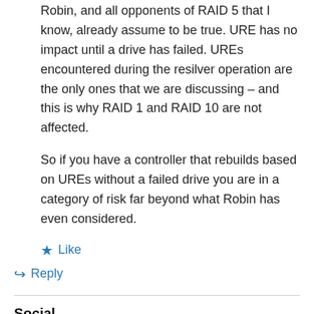Robin, and all opponents of RAID 5 that I know, already assume to be true. URE has no impact until a drive has failed. UREs encountered during the resilver operation are the only ones that we are discussing – and this is why RAID 1 and RAID 10 are not affected.
So if you have a controller that rebuilds based on UREs without a failed drive you are in a category of risk far beyond what Robin has even considered.
★ Like
↪ Reply
Social